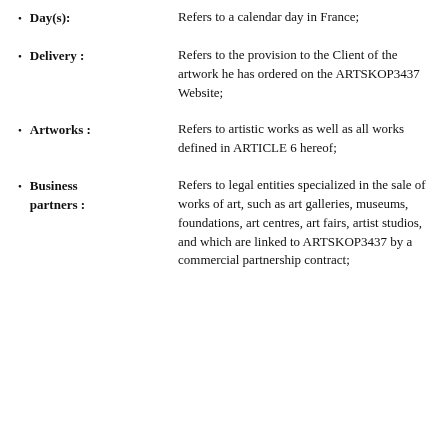Day(s): Refers to a calendar day in France;
Delivery : Refers to the provision to the Client of the artwork he has ordered on the ARTSKOP3437 Website;
Artworks : Refers to artistic works as well as all works defined in ARTICLE 6 hereof;
Business partners : Refers to legal entities specialized in the sale of works of art, such as art galleries, museums, foundations, art centres, art fairs, artist studios, and which are linked to ARTSKOP3437 by a commercial partnership contract;